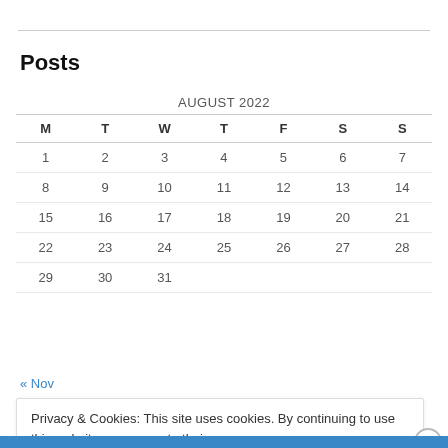Posts
| M | T | W | T | F | S | S |
| --- | --- | --- | --- | --- | --- | --- |
| 1 | 2 | 3 | 4 | 5 | 6 | 7 |
| 8 | 9 | 10 | 11 | 12 | 13 | 14 |
| 15 | 16 | 17 | 18 | 19 | 20 | 21 |
| 22 | 23 | 24 | 25 | 26 | 27 | 28 |
| 29 | 30 | 31 |  |  |  |  |
« Nov
Privacy & Cookies: This site uses cookies. By continuing to use this website, you agree to their use.
To find out more, including how to control cookies, see here: Cookie Policy